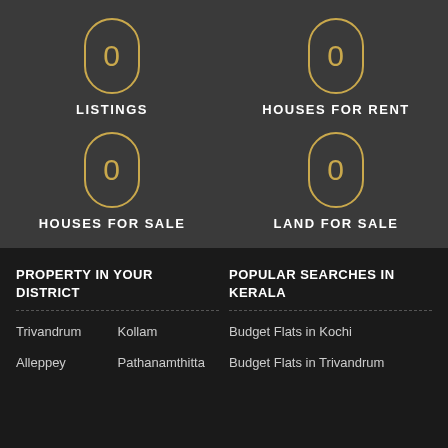[Figure (infographic): Four stat counters showing zeros in gold oval outlines on dark grey background: LISTINGS, HOUSES FOR RENT, HOUSES FOR SALE, LAND FOR SALE]
PROPERTY IN YOUR DISTRICT
POPULAR SEARCHES IN KERALA
Trivandrum
Kollam
Budget Flats in Kochi
Alleppey
Pathanamthitta
Budget Flats in Trivandrum